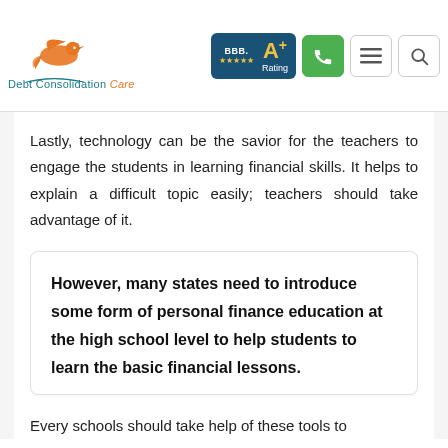[Figure (logo): Debt Consolidation Care logo with orange bird and teal text, BBB A+ rating badge, phone icon, menu icon, and search icon in navigation header]
Lastly, technology can be the savior for the teachers to engage the students in learning financial skills. It helps to explain a difficult topic easily; teachers should take advantage of it.
However, many states need to introduce some form of personal finance education at the high school level to help students to learn the basic financial lessons.
Every schools should take help of these tools to